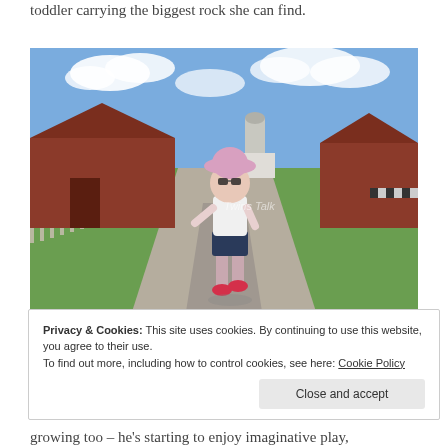toddler carrying the biggest rock she can find.
[Figure (photo): A toddler wearing a pink sun hat, sunglasses, white top, dark shorts, and pink shoes walking on a gravel farm lane. Farm buildings and wooden fences are visible in the background under a partly cloudy sky. A watermark reads 'Twins Talk' in the center of the image.]
Privacy & Cookies: This site uses cookies. By continuing to use this website, you agree to their use.
To find out more, including how to control cookies, see here: Cookie Policy
[Close and accept button]
growing too – he's starting to enjoy imaginative play,